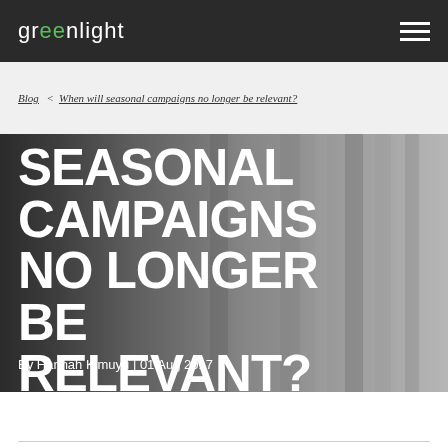greenlight
Blog < When will seasonal campaigns no longer be relevant?
SEASONAL CAMPAIGNS NO LONGER BE RELEVANT?
By Hannah Kimuyu | 01 Aug 2017